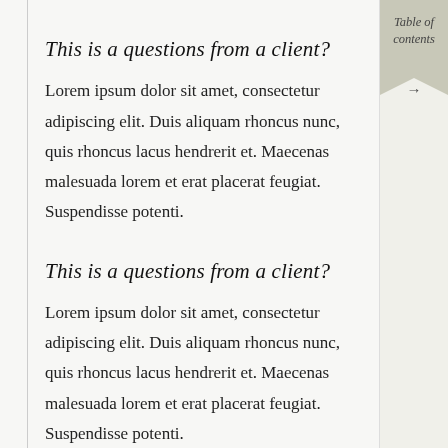This is a questions from a client?
Lorem ipsum dolor sit amet, consectetur adipiscing elit. Duis aliquam rhoncus nunc, quis rhoncus lacus hendrerit et. Maecenas malesuada lorem et erat placerat feugiat. Suspendisse potenti.
This is a questions from a client?
Lorem ipsum dolor sit amet, consectetur adipiscing elit. Duis aliquam rhoncus nunc, quis rhoncus lacus hendrerit et. Maecenas malesuada lorem et erat placerat feugiat. Suspendisse potenti.
Table of contents →